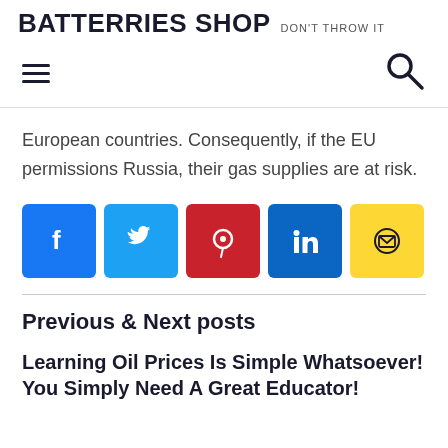BATTERRIES SHOP  DON'T THROW IT
[Figure (other): Navigation bar with hamburger menu icon on the left and search icon on the right]
European countries. Consequently, if the EU permissions Russia, their gas supplies are at risk.
[Figure (infographic): Row of 5 social media share buttons: Facebook (blue), Twitter (cyan), Pinterest (red), LinkedIn (blue), Email (yellow)]
Previous & Next posts
Learning Oil Prices Is Simple Whatsoever! You Simply Need A Great Educator!